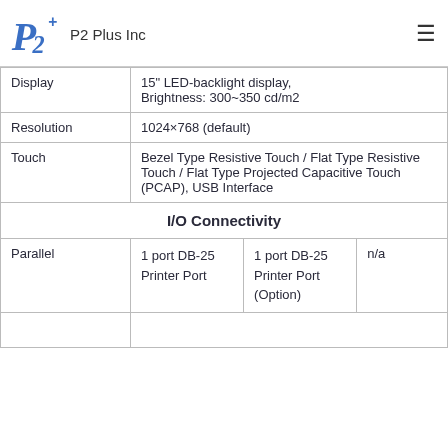P2 Plus Inc
| Display | 15" LED-backlight display, Brightness: 300~350 cd/m2 |
| Resolution | 1024×768 (default) |
| Touch | Bezel Type Resistive Touch / Flat Type Resistive Touch / Flat Type Projected Capacitive Touch (PCAP), USB Interface |
| I/O Connectivity |  |
| Parallel | 1 port DB-25 Printer Port | 1 port DB-25 Printer Port (Option) | n/a |